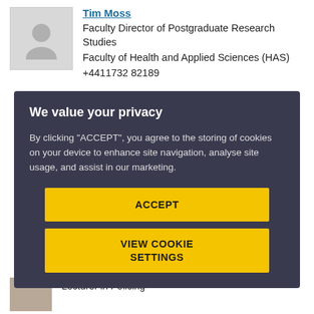[Figure (photo): Placeholder avatar silhouette image for a person]
Tim Moss
Faculty Director of Postgraduate Research Studies
Faculty of Health and Applied Sciences (HAS)
+4411732 82189
We value your privacy

By clicking “ACCEPT”, you agree to the storing of cookies on your device to enhance site navigation, analyse site usage, and assist in our marketing.

ACCEPT

VIEW COOKIE SETTINGS
Lecturer in Policing